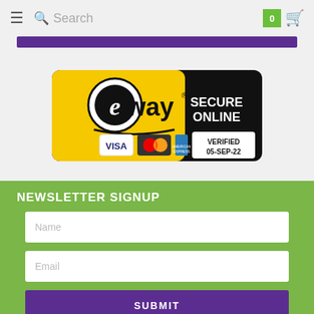☰  🔍 Search  0  🛒
[Figure (screenshot): Purple navigation bar / banner strip]
[Figure (logo): eWAY Secure Online payment badge showing VISA, MasterCard, American Express logos and VERIFIED 05-SEP-22]
NEWSLETTER SIGNUP
Name
Email
SUBMIT